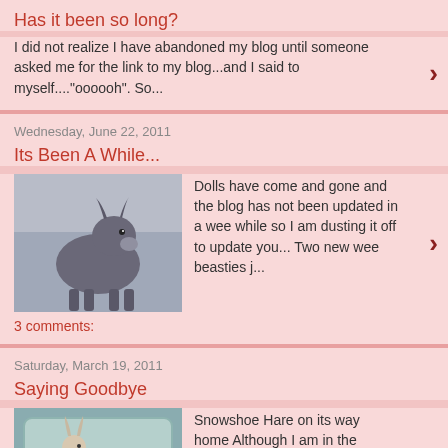Has it been so long?
I did not realize I have abandoned my blog until someone asked me for the link to my blog...and I said to myself...."oooooh". So...
Wednesday, June 22, 2011
Its Been A While...
[Figure (photo): A stuffed toy donkey doll against a light background]
Dolls have come and gone and the blog has not been updated in a wee while so I am dusting it off to update you... Two new wee beasties j...
3 comments:
Saturday, March 19, 2011
Saying Goodbye
[Figure (photo): A packaged snowshoe hare doll in a plastic bag with yellow tissue paper]
Snowshoe Hare on its way home Although I am in the business of creating and selling dolls, I find it very hard to say goodbye sometimes. Ea...